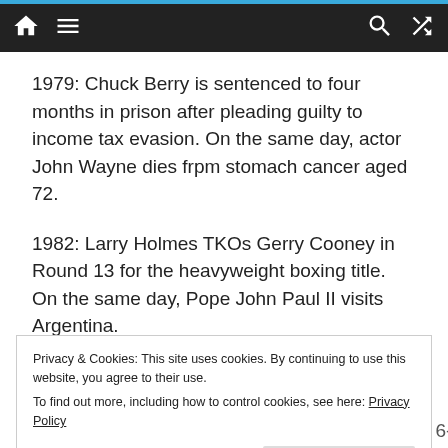Navigation bar with home, menu, search, and random icons
1979: Chuck Berry is sentenced to four months in prison after pleading guilty to income tax evasion. On the same day, actor John Wayne dies frpm stomach cancer aged 72.
1982: Larry Holmes TKOs Gerry Cooney in Round 13 for the heavyweight boxing title. On the same day, Pope John Paul II visits Argentina.
1985: Russian space probe Vega 1 lands on Venus.
Privacy & Cookies: This site uses cookies. By continuing to use this website, you agree to their use.
To find out more, including how to control cookies, see here: Privacy Policy
beating Stefan Edberg of Sweden 6-1, 3-6, 4-6, 6-4